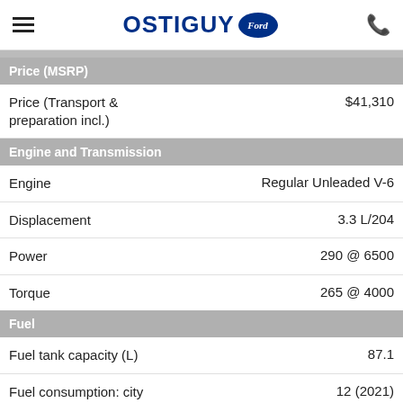OSTIGUY Ford
Price (MSRP)
|  |  |
| --- | --- |
| Price (Transport & preparation incl.) | $41,310 |
Engine and Transmission
|  |  |
| --- | --- |
| Engine | Regular Unleaded V-6 |
| Displacement | 3.3 L/204 |
| Power | 290 @ 6500 |
| Torque | 265 @ 4000 |
Fuel
|  |  |
| --- | --- |
| Fuel tank capacity (L) | 87.1 |
| Fuel consumption: city (L/100km) | 12 (2021) |
| Fuel consumption: highway (L/100km) | 9.8 (2021) |